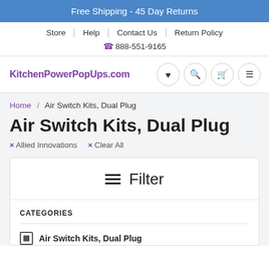Free Shipping - 45 Day Returns
Store | Help | Contact Us | Return Policy
888-551-9165
KitchenPowerPopUps.com
Home / Air Switch Kits, Dual Plug
Air Switch Kits, Dual Plug
× Allied Innovations   × Clear All
Filter
CATEGORIES
Air Switch Kits, Dual Plug